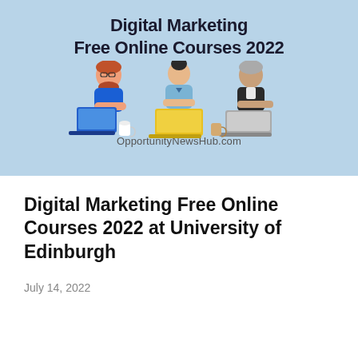[Figure (illustration): Light blue banner illustration showing three people (a bearded man with glasses using a blue laptop, a woman with a bun using a yellow laptop, and an older person using a grey laptop) seated at a table. Text overlay reads 'Digital Marketing Free Online Courses 2022'. Watermark at bottom: 'OpportunityNewsHub.com']
Digital Marketing Free Online Courses 2022 at University of Edinburgh
July 14, 2022